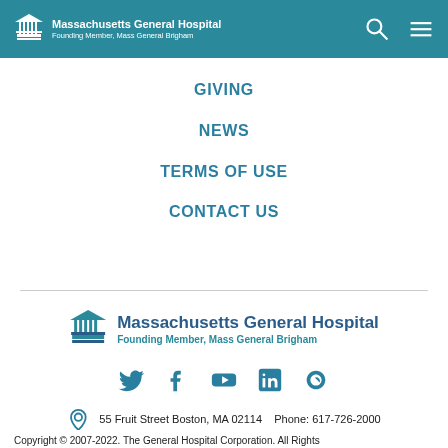Massachusetts General Hospital — Founding Member, Mass General Brigham
GIVING
NEWS
TERMS OF USE
CONTACT US
[Figure (logo): Massachusetts General Hospital logo — Founding Member, Mass General Brigham]
[Figure (infographic): Social media icons: Twitter, Facebook, YouTube, LinkedIn, Doximity]
55 Fruit Street Boston, MA 02114    Phone: 617-726-2000
Copyright © 2007-2022. The General Hospital Corporation. All Rights